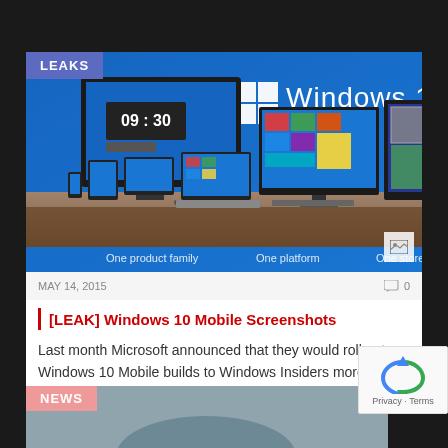[Figure (screenshot): Windows 10 promotional image showing multiple devices (phones, tablets, laptops, desktop monitors) running Windows 10 on a blue background with 'Windows 10' text and Windows logo. A clock showing 09:30 is on a monitor on the left. Bottom text shows 'One product family', 'One platform', 'One store'.]
MAY 14, 2015   0
[LEAK] Windows 10 Mobile Screenshots
Last month Microsoft announced that they would roll out Windows 10 Mobile builds to Windows Insiders more...
[Figure (screenshot): Partial second article card with NEWS badge (salmon/red color) and partial image of a device at the bottom of the page.]